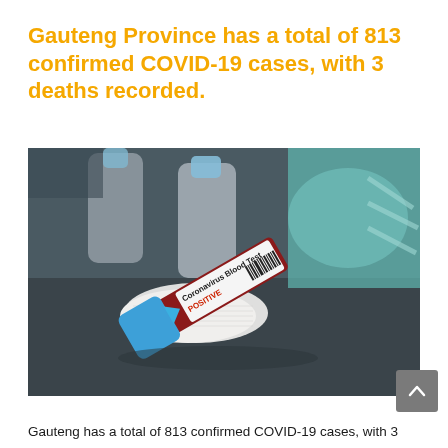Gauteng Province has a total of 813 confirmed COVID-19 cases, with 3 deaths recorded.
[Figure (photo): Photo of a blood test tube labeled 'Coronavirus Blood Test POSITIVE' with a blue cap, resting on a white gauze pad on a dark surface, with medical bottles and a teal surgical mask blurred in the background.]
Gauteng has a total of 813 confirmed COVID-19 cases, with 3